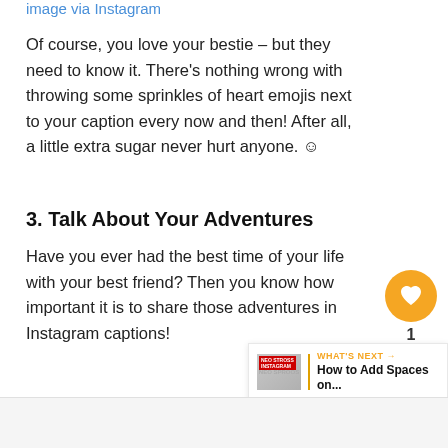image via Instagram
Of course, you love your bestie – but they need to know it. There's nothing wrong with throwing some sprinkles of heart emojis next to your caption every now and then! After all, a little extra sugar never hurt anyone. ☺
3. Talk About Your Adventures
Have you ever had the best time of your life with your best friend? Then you know how important it is to share those adventures in Instagram captions!
[Figure (infographic): Social interaction buttons: orange heart/like button with count of 1, and a share button below it]
[Figure (infographic): WHAT'S NEXT panel with thumbnail image and text 'How to Add Spaces on...']